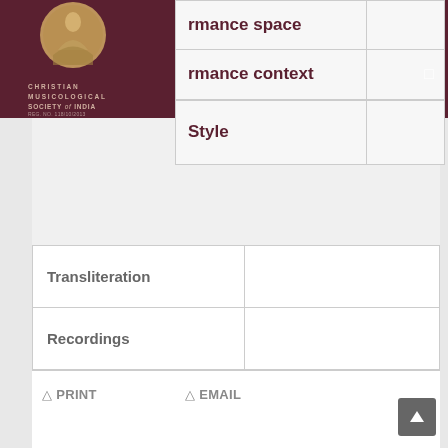CHRISTIAN MUSICOLOGICAL SOCIETY OF INDIA
| Field | Value |
| --- | --- |
| Performance space |  |
| Performance context |  |
| Style |  |
| Transliteration |  |
| Recordings |  |
| Comments |  |
PRINT   EMAIL